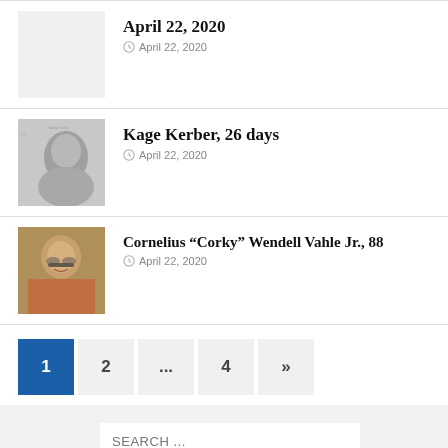April 22, 2020
April 22, 2020
Kage Kerber, 26 days
April 22, 2020
Cornelius “Corky” Wendell Vahle Jr., 88
April 22, 2020
1
2
...
4
»
SEARCH ...